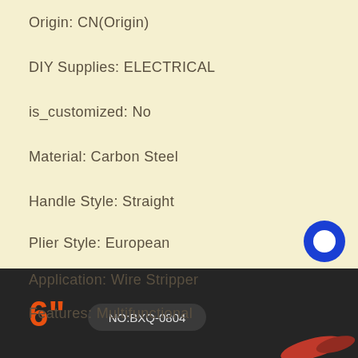Origin: CN(Origin)
DIY Supplies: ELECTRICAL
is_customized: No
Material: Carbon Steel
Handle Style: Straight
Plier Style: European
Application: Wire Stripper
Features: Multifunctional
Type: Decrustation Pliers
[Figure (photo): Dark background product image showing a wire stripper / decrustation pliers tool with red handles. Displays '6"' in orange text and 'NO:BXQ-0804' label.]